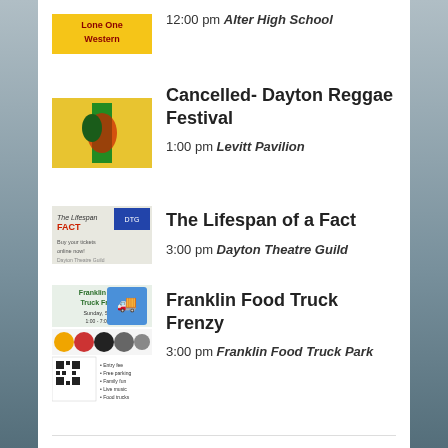12:00 pm Alter High School
Cancelled- Dayton Reggae Festival
1:00 pm Levitt Pavilion
The Lifespan of a Fact
3:00 pm Dayton Theatre Guild
Franklin Food Truck Frenzy
3:00 pm Franklin Food Truck Park
+ 4 More
View Calendar